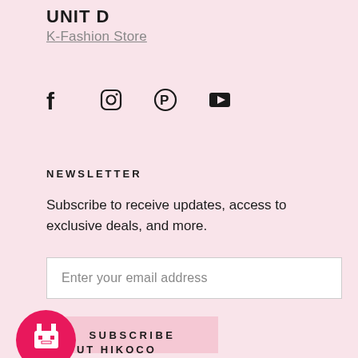UNIT D
K-Fashion Store
[Figure (other): Social media icons: Facebook, Instagram, Pinterest, YouTube]
NEWSLETTER
Subscribe to receive updates, access to exclusive deals, and more.
Enter your email address
SUBSCRIBE
[Figure (logo): Hikoco pink circular logo with pixel-art bunny/robot icon]
ABOUT HIKOCO